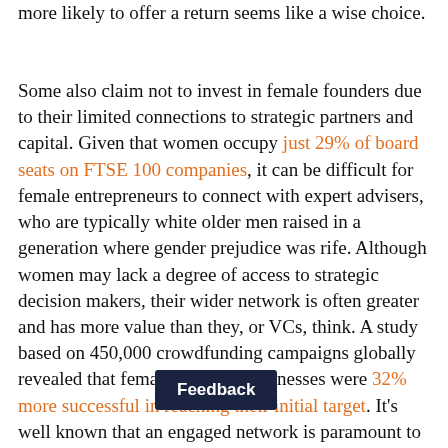more likely to offer a return seems like a wise choice.
Some also claim not to invest in female founders due to their limited connections to strategic partners and capital. Given that women occupy just 29% of board seats on FTSE 100 companies, it can be difficult for female entrepreneurs to connect with expert advisers, who are typically white older men raised in a generation where gender prejudice was rife. Although women may lack a degree of access to strategic decision makers, their wider network is often greater and has more value than they, or VCs, think. A study based on 450,000 crowdfunding campaigns globally revealed that female-founded businesses were 32% more successful in reaching their initial target. It's well known that an engaged network is paramount to a successful crowdfunding campaign. In contrast to the male entrepreneurs, found that female founders typically downp... n extensively engaged user base